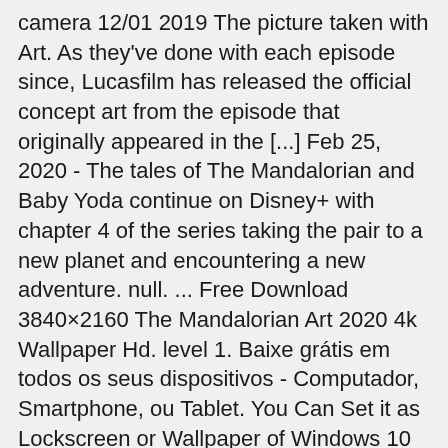camera 12/01 2019 The picture taken with Art. As they've done with each episode since, Lucasfilm has released the official concept art from the episode that originally appeared in the [...] Feb 25, 2020 - The tales of The Mandalorian and Baby Yoda continue on Disney+ with chapter 4 of the series taking the pair to a new planet and encountering a new adventure. null. ... Free Download 3840×2160 The Mandalorian Art 2020 4k Wallpaper Hd. level 1. Baixe grátis em todos os seus dispositivos - Computador, Smartphone, ou Tablet. You Can Set it as Lockscreen or Wallpaper of Windows 10 ... Explore. Nov 15, 2019 - The impressive art for the end-credits of The Mandalorian has surfaced online. 11 months ago!remindme 16 hours. It is very popular to decorate the background of Mac, Windows, Desktop or Android device beautifully. The Mandalorian Baby Yoda 4K 4k Ultra HD Desktop Background Wallpaper for 4K UHD TV : Tablet : Smartphone Wallpaper The Mandalorian Star Wars...